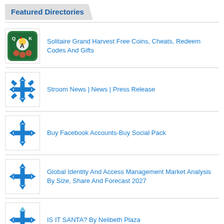Featured Directories
Solitaire Grand Harvest Free Coins, Cheats, Redeem Codes And Gifts
Stroom News | News | Press Release
Buy Facebook Accounts-Buy Social Pack
Global Identity And Access Management Market Analysis By Size, Share And Forecast 2027
IS IT SANTA? By Nelibeth Plaza